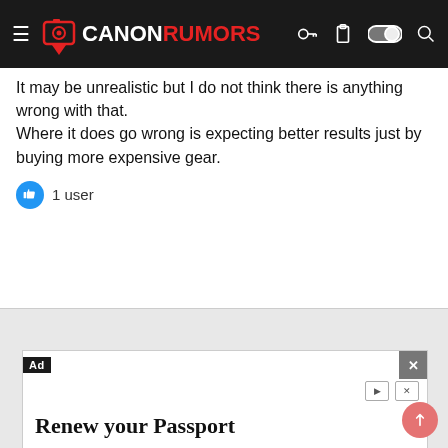CANONRUMORS
It may be unrealistic but I do not think there is anything wrong with that.
Where it does go wrong is expecting better results just by buying more expensive gear.
1 user
[Figure (screenshot): Advertisement for U.S. Department of State passport renewal. Title: Renew your Passport. Body: Reduce stress by renewing your passport in fall or winter when processing is faster. Source: U.S. Department of State. Button: Learn More]